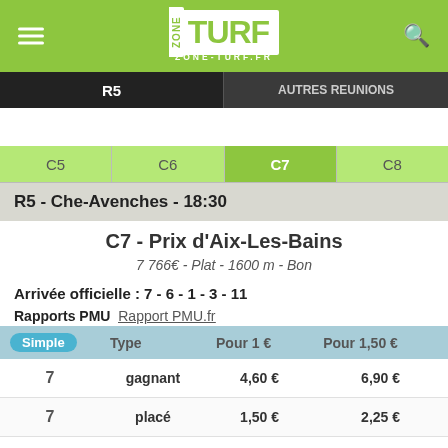[Figure (logo): Zone Turf logo on green header bar with hamburger menu and search icon]
R5 | AUTRES REUNIONS
| C5 | C6 | C7 | C8 |
| --- | --- | --- | --- |
R5 - Che-Avenches - 18:30
C7 - Prix d'Aix-Les-Bains
7 766€ - Plat - 1600 m - Bon
Arrivée officielle : 7 - 6 - 1 - 3 - 11
Rapports PMU  Rapport PMU.fr
| Simple | Type | Pour 1 € | Pour 1,50 € |
| --- | --- | --- | --- |
| 7 | gagnant | 4,60 € | 6,90 € |
| 7 | placé | 1,50 € | 2,25 € |
| 6 | placé | 1,70 € | 2,55 € |
| 1 | placé | 1,30 € | 1,95 € |